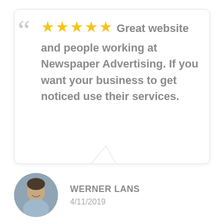★★★★★ Great website and people working at Newspaper Advertising. If you want your business to get noticed use their services.
WERNER LANS
4/11/2019